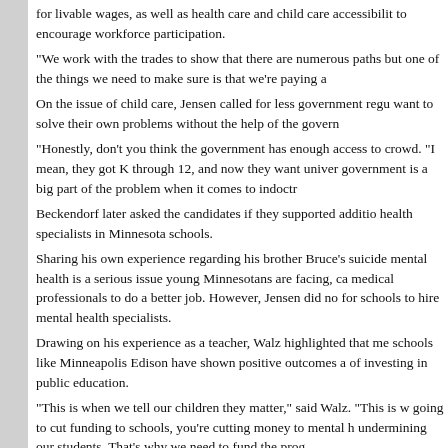for livable wages, as well as health care and child care accessibility to encourage workforce participation.
"We work with the trades to show that there are numerous paths but one of the things we need to make sure is that we're paying a
On the issue of child care, Jensen called for less government regu want to solve their own problems without the help of the govern
"Honestly, don't you think the government has enough access to crowd. "I mean, they got K through 12, and now they want univer government is a big part of the problem when it comes to indoctr
Beckendorf later asked the candidates if they supported additio health specialists in Minnesota schools.
Sharing his own experience regarding his brother Bruce's suicide mental health is a serious issue young Minnesotans are facing, ca medical professionals to do a better job. However, Jensen did no for schools to hire mental health specialists.
Drawing on his experience as a teacher, Walz highlighted that me schools like Minneapolis Edison have shown positive outcomes a of investing in public education.
"This is when we tell our children they matter," said Walz. "This is w going to cut funding to schools, you're cutting money to mental h undermining our students. That's why we need to fund the prog